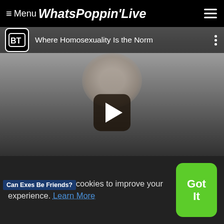Menu WhatsPoppin'Live
[Figure (screenshot): YouTube-style embedded video player showing a person in a dark sweater and tie, with BT logo and title 'Where Homosexuality Is the Norm', and a play button overlay]
[Figure (screenshot): Left thumbnail showing silhouetted couple with label 'Can Exes Be Friends?']
[Figure (screenshot): Right thumbnail showing roses and guitar with label 'En Vogue - Don't Let Go (Love) (Official Music Vid)']
This website uses cookies to improve your experience. Learn More
Got It